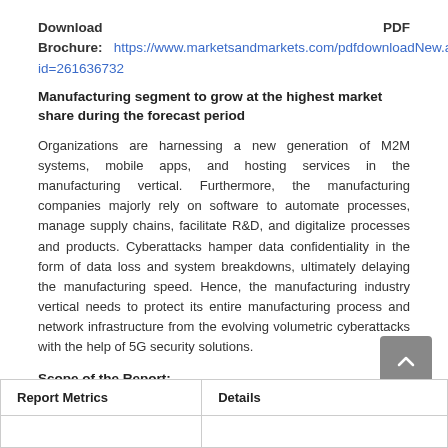Download PDF Brochure: https://www.marketsandmarkets.com/pdfdownloadNew.asp?id=261636732
Manufacturing segment to grow at the highest market share during the forecast period
Organizations are harnessing a new generation of M2M systems, mobile apps, and hosting services in the manufacturing vertical. Furthermore, the manufacturing companies majorly rely on software to automate processes, manage supply chains, facilitate R&D, and digitalize processes and products. Cyberattacks hamper data confidentiality in the form of data loss and system breakdowns, ultimately delaying the manufacturing speed. Hence, the manufacturing industry vertical needs to protect its entire manufacturing process and network infrastructure from the evolving volumetric cyberattacks with the help of 5G security solutions.
Scope of the Report:
| Report Metrics | Details |
| --- | --- |